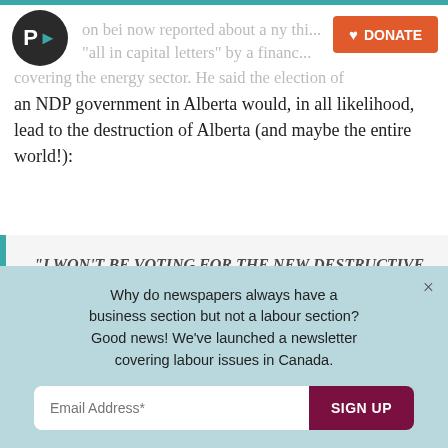[Figure (logo): Circular dark logo with P and teal arrow symbol]
DONATE
on bei now reported about a ny thi... e-mail 'all in capital letters' by a financ... covering the energy sector. He said the election of an NDP government in Alberta would, in all likelihood, lead to the destruction of Alberta (and maybe the entire world!):
“I WON’T BE VOTING FOR THE NEW DESTRUCTIVE PARTY. MAKE SURE YOUR ANTI-APOCALYPSE PALS GET TO THE POLLS!”
Why do newspapers always have a business section but not a labour section? Good news! We’ve launched a newsletter covering labour issues in Canada.